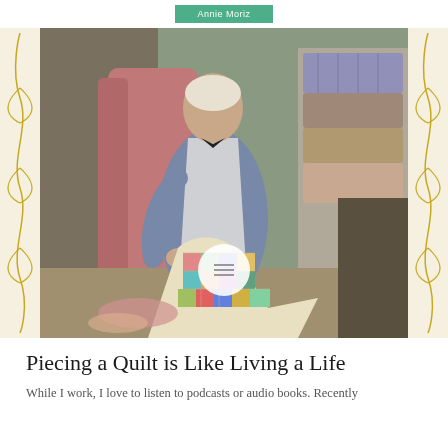Annie Moriz
[Figure (illustration): Painting of an elderly woman in a blue dress and white apron holding a colorful patchwork quilt, standing in a room with quilts stacked in the background. Decorative art nouveau style yellow border on left and right sides of the image.]
Piecing a Quilt is Like Living a Life
While I work, I love to listen to podcasts or audio books. Recently